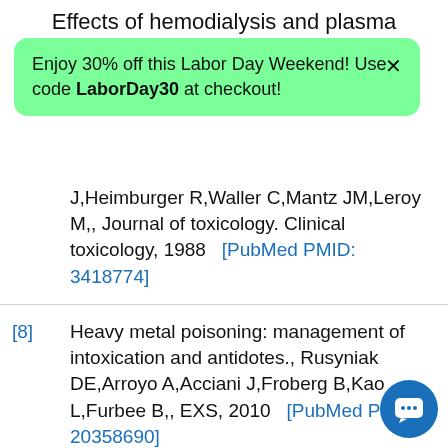Effects of hemodialysis and plasma
[Figure (screenshot): Green promotional banner overlay: 'Enjoy 30% off this Labor Day Weekend! Use code LaborDay30 at checkout!' with an X close button]
J,Heimburger R,Waller C,Mantz JM,Leroy M,, Journal of toxicology. Clinical toxicology, 1988 [PubMed PMID: 3418774]
[8] Heavy metal poisoning: management of intoxication and antidotes., Rusyniak DE,Arroyo A,Acciani J,Froberg B,Kao L,Furbee B,, EXS, 2010 [PubMed PMID: 20358690]
[9] The toxicology of mercury: Current research and emerging trends.,